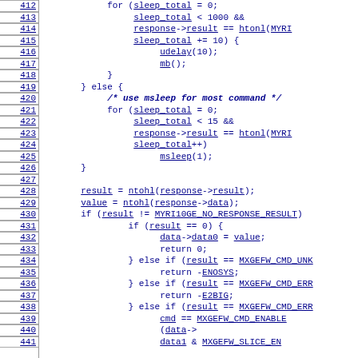Source code listing lines 412-441, C code with sleep loops and result checking logic